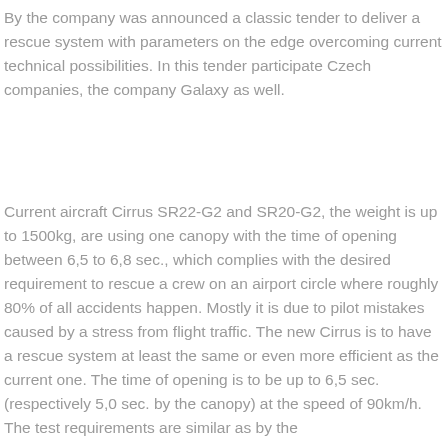By the company was announced a classic tender to deliver a rescue system with parameters on the edge overcoming current technical possibilities. In this tender participate Czech companies, the company Galaxy as well.
Current aircraft Cirrus SR22-G2 and SR20-G2, the weight is up to 1500kg, are using one canopy with the time of opening between 6,5 to 6,8 sec., which complies with the desired requirement to rescue a crew on an airport circle where roughly 80% of all accidents happen. Mostly it is due to pilot mistakes caused by a stress from flight traffic. The new Cirrus is to have a rescue system at least the same or even more efficient as the current one. The time of opening is to be up to 6,5 sec. (respectively 5,0 sec. by the canopy) at the speed of 90km/h. The test requirements are similar as by the